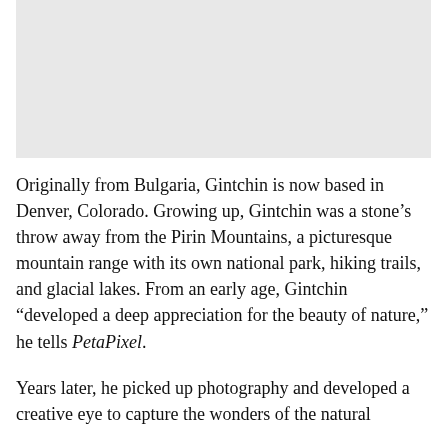[Figure (photo): A light gray rectangular placeholder representing a photograph, likely a landscape or nature photo related to Gintchin's photography work.]
Originally from Bulgaria, Gintchin is now based in Denver, Colorado. Growing up, Gintchin was a stone’s throw away from the Pirin Mountains, a picturesque mountain range with its own national park, hiking trails, and glacial lakes. From an early age, Gintchin “developed a deep appreciation for the beauty of nature,” he tells PetaPixel.
Years later, he picked up photography and developed a creative eye to capture the wonders of the natural